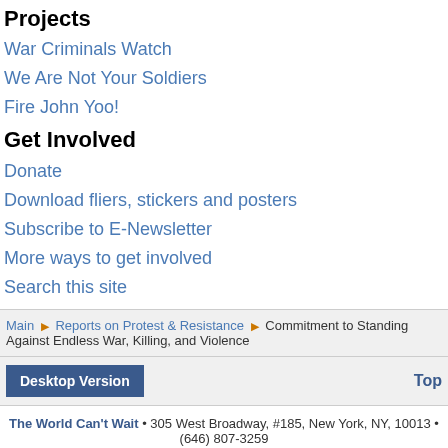Projects
War Criminals Watch
We Are Not Your Soldiers
Fire John Yoo!
Get Involved
Donate
Download fliers, stickers and posters
Subscribe to E-Newsletter
More ways to get involved
Search this site
Main ▶ Reports on Protest & Resistance ▶ Commitment to Standing Against Endless War, Killing, and Violence
Desktop Version    Top
The World Can't Wait • 305 West Broadway, #185, New York, NY, 10013 • (646) 807-3259 If this website is not displaying correctly, try using the most recent version of Firefox.